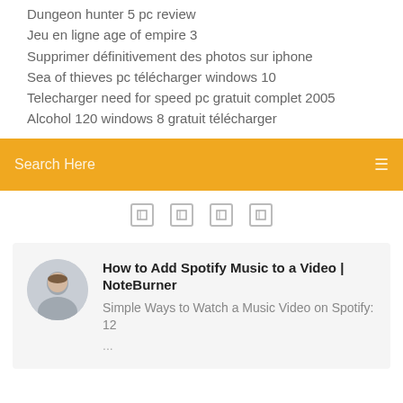Dungeon hunter 5 pc review
Jeu en ligne age of empire 3
Supprimer définitivement des photos sur iphone
Sea of thieves pc télécharger windows 10
Telecharger need for speed pc gratuit complet 2005
Alcohol 120 windows 8 gratuit télécharger
Search Here
[Figure (infographic): Row of four small social media icon boxes]
How to Add Spotify Music to a Video | NoteBurner
Simple Ways to Watch a Music Video on Spotify: 12 ...